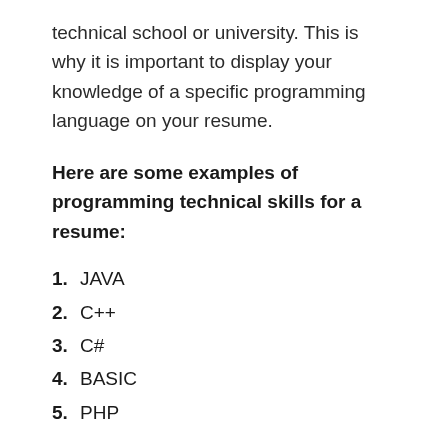technical school or university. This is why it is important to display your knowledge of a specific programming language on your resume.
Here are some examples of programming technical skills for a resume:
1. JAVA
2. C++
3. C#
4. BASIC
5. PHP